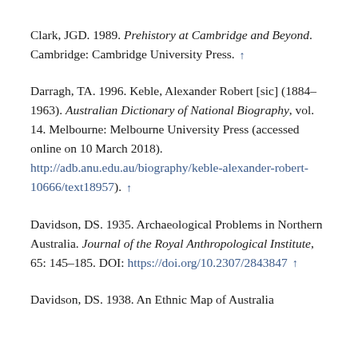Clark, JGD. 1989. Prehistory at Cambridge and Beyond. Cambridge: Cambridge University Press. ↑
Darragh, TA. 1996. Keble, Alexander Robert [sic] (1884–1963). Australian Dictionary of National Biography, vol. 14. Melbourne: Melbourne University Press (accessed online on 10 March 2018). http://adb.anu.edu.au/biography/keble-alexander-robert-10666/text18957). ↑
Davidson, DS. 1935. Archaeological Problems in Northern Australia. Journal of the Royal Anthropological Institute, 65: 145–185. DOI: https://doi.org/10.2307/2843847 ↑
Davidson, DS. 1938. An Ethnic Map of Australia